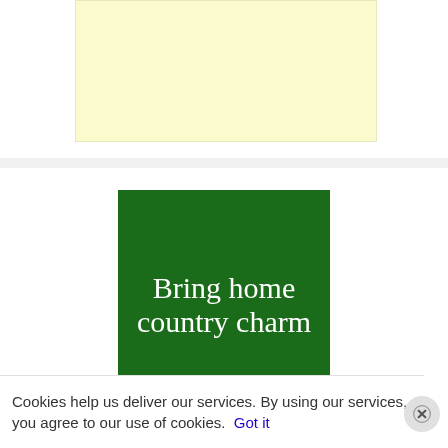[Figure (other): Light yellow/cream colored advertisement banner placeholder]
[Figure (other): Dark green square advertisement reading 'Bring home country charm' in white serif font]
Cookies help us deliver our services. By using our services, you agree to our use of cookies. Got it